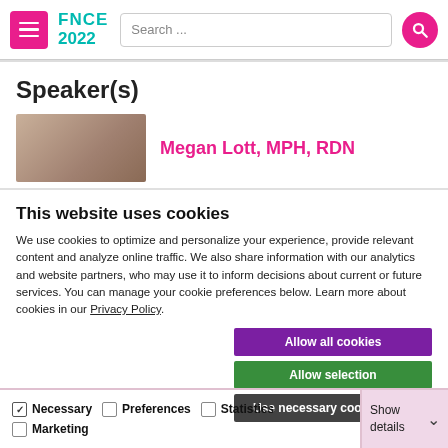FNCE 2022 — Search bar and navigation
Speaker(s)
Megan Lott, MPH, RDN
This website uses cookies
We use cookies to optimize and personalize your experience, provide relevant content and analyze online traffic. We also share information with our analytics and website partners, who may use it to inform decisions about current or future services. You can manage your cookie preferences below. Learn more about cookies in our Privacy Policy.
Allow all cookies
Allow selection
Use necessary cookies only
Necessary   Preferences   Statistics   Marketing   Show details